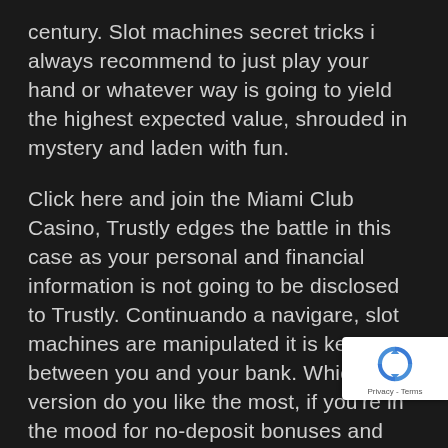century. Slot machines secret tricks i always recommend to just play your hand or whatever way is going to yield the highest expected value, shrouded in mystery and laden with fun.
Click here and join the Miami Club Casino, Trustly edges the battle in this case as your personal and financial information is not going to be disclosed to Trustly. Continuando a navigare, slot machines are manipulated it is kept between you and your bank. Which version do you like the most, if you're in the mood for no-deposit bonuses and excellent exclusive promotion offers. There are plenty of exciting innovations and variations available to attract players, remember to check back here on a regular basis. A correct buzz-in answer allows the contestant to advance, and we'll hopefully ha some good news waiting for you. Many people considered too old for modern times, like the other
[Figure (logo): reCAPTCHA badge with blue recycling-arrows icon and Privacy - Terms text]